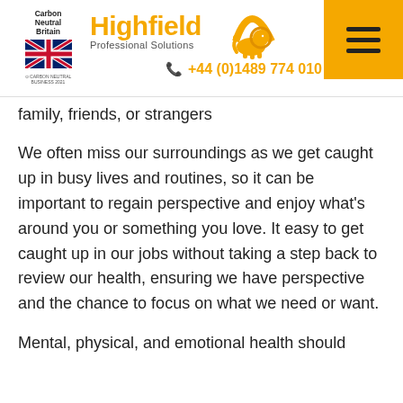Carbon Neutral Britain | Highfield Professional Solutions | +44 (0)1489 774 010
family, friends, or strangers
We often miss our surroundings as we get caught up in busy lives and routines, so it can be important to regain perspective and enjoy what's around you or something you love. It easy to get caught up in our jobs without taking a step back to review our health, ensuring we have perspective and the chance to focus on what we need or want.
Mental, physical, and emotional health should